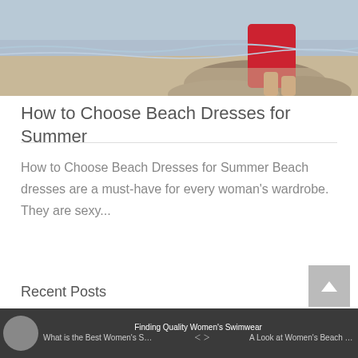[Figure (photo): Partial photo of a woman in a red dress sitting on rocks at a beach, cropped to show mainly her legs and the beach background]
How to Choose Beach Dresses for Summer
How to Choose Beach Dresses for Summer Beach dresses are a must-have for every woman's wardrobe. They are sexy...
Recent Posts
What is the Best Women's Swims... Finding Quality Women's Swimwear A Look at Women's Beach Sun Hats